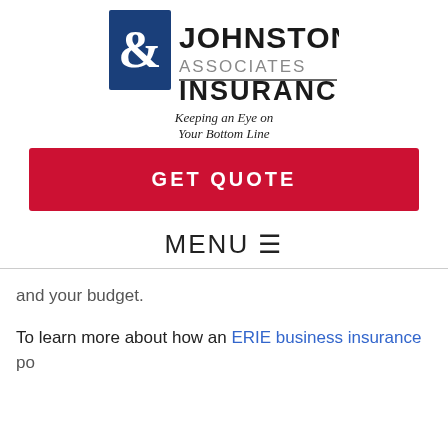[Figure (logo): Johnston & Associates Insurance logo with blue square containing ampersand, text 'JOHNSTON & ASSOCIATES INSURANCE' and tagline 'Keeping an Eye on Your Bottom Line']
GET QUOTE
MENU ☰
and your budget.
To learn more about how an ERIE business insurance